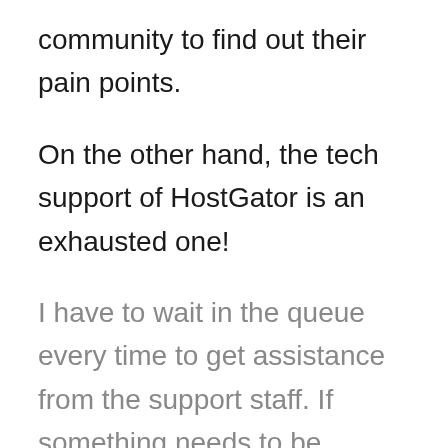community to find out their pain points.
On the other hand, the tech support of HostGator is an exhausted one!
I have to wait in the queue every time to get assistance from the support staff. If something needs to be solved urgently, then you would be in trouble as their support is slow and might not